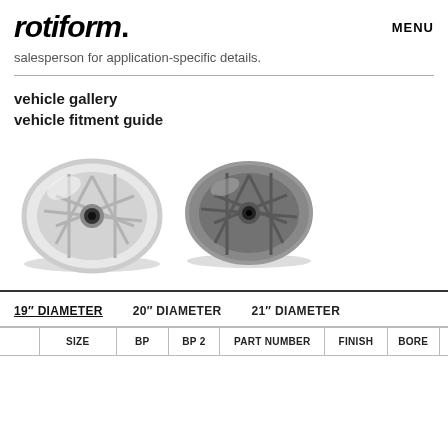rotiform. MENU
salesperson for application-specific details.
vehicle gallery
vehicle fitment guide
[Figure (photo): Two Rotiform wheels shown at an angle — one silver/polished on the left, one dark gray/gunmetal on the right. Both feature a multi-spoke mesh/Y-spoke design.]
19" DIAMETER   20" DIAMETER   21" DIAMETER
|  | SIZE | BP | BP 2 | PART NUMBER | FINISH | BORE |  |
| --- | --- | --- | --- | --- | --- | --- | --- |